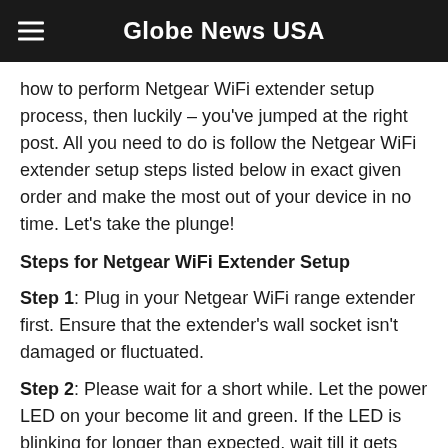Globe News USA
how to perform Netgear WiFi extender setup process, then luckily – you've jumped at the right post. All you need to do is follow the Netgear WiFi extender setup steps listed below in exact given order and make the most out of your device in no time. Let's take the plunge!
Steps for Netgear WiFi Extender Setup
Step 1: Plug in your Netgear WiFi range extender first. Ensure that the extender's wall socket isn't damaged or fluctuated.
Step 2: Please wait for a short while. Let the power LED on your become lit and green. If the LED is blinking for longer than expected, wait till it gets stable.
Step 3: ...